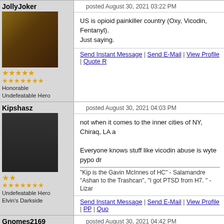JollyJoker
posted August 30, 2021 03:22 PM
US is opioid painkiller country (Oxy, Vicodin, Fentanyl). Just saying.
Send Instant Message | Send E-Mail | View Profile | Quote R
Kipshasz
posted August 30, 2021 04:03 PM
not when it comes to the inner cities of NY, Chiraq, LA a
Everyone knows stuff like vicodin abuse is wyte pypo dr
"Kip is the Gavin McInnes of HC" - Salamandre
"Ashan to the Trashcan", "I got PTSD from H7. " - Lizar
Send Instant Message | Send E-Mail | View Profile | PP | Quo
Gnomes2169
posted August 30, 2021 04:42 PM
gnollking said:
why is this bot that posts random links and image
He'd been tempering himself. Keeping the thread trickle